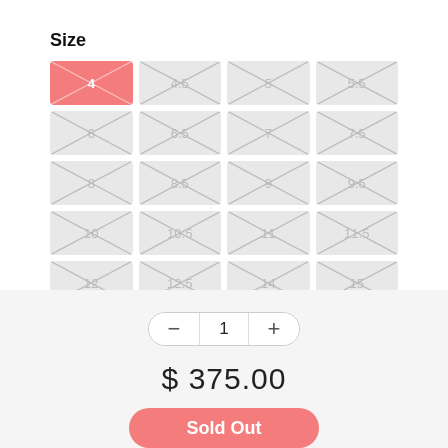Size
[Figure (other): Size selector grid with 20 cells in 4 columns and 5 rows. First cell (size 4) is selected in red/pink. Remaining cells show sizes 4.5, 5, 5.5, 6, 6.5, 7, 7.5, 8, 8.5, 9, 9.5, 10, 10.5, 11, 11.5, 12, 12.5, 14, 15 all with X placeholder pattern in light grey.]
1
$ 375.00
Sold Out